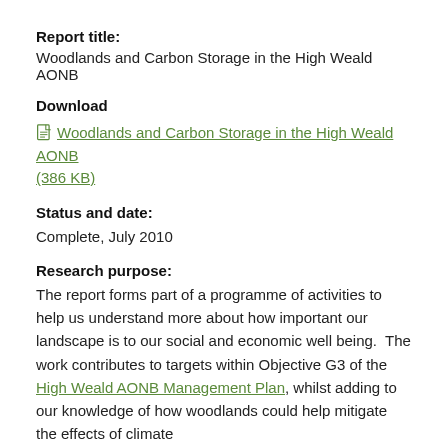Report title:
Woodlands and Carbon Storage in the High Weald AONB
Download
Woodlands and Carbon Storage in the High Weald AONB (386 KB)
Status and date:
Complete, July 2010
Research purpose:
The report forms part of a programme of activities to help us understand more about how important our landscape is to our social and economic well being.  The work contributes to targets within Objective G3 of the High Weald AONB Management Plan, whilst adding to our knowledge of how woodlands could help mitigate the effects of climate